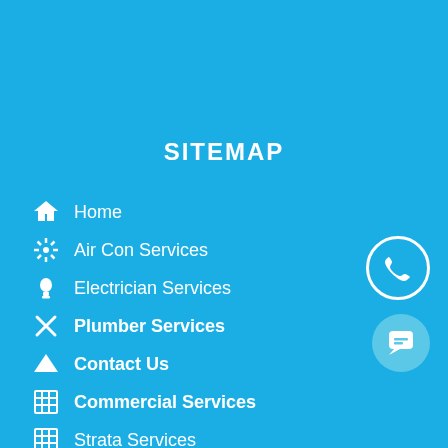SITEMAP
Home
Air Con Services
Electrician Services
Plumber Services
Contact Us
Commercial Services
Strata Services
Emergency Services
About Us